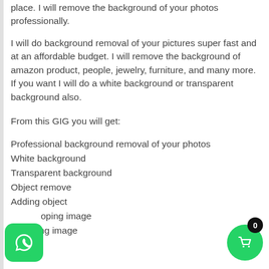place. I will remove the background of your photos professionally.
I will do background removal of your pictures super fast and at an affordable budget. I will remove the background of amazon product, people, jewelry, furniture, and many more. If you want I will do a white background or transparent background also.
From this GIG you will get:
Professional background removal of your photos
White background
Transparent background
Object remove
Adding object
Croping image
Re-sizing image